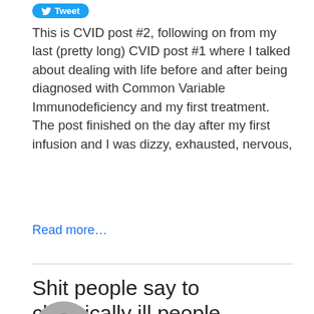[Figure (logo): Twitter Tweet button in blue with bird icon]
This is CVID post #2, following on from my last (pretty long) CVID post #1 where I talked about dealing with life before and after being diagnosed with Common Variable Immunodeficiency and my first treatment. The post finished on the day after my first infusion and I was dizzy, exhausted, nervous,
Read more…
Shit people say to chronically ill people
08/25/15 / Charlie / 2 Comments / ALL, HEALTH
[Figure (photo): Partial circular avatar photo at bottom of page]